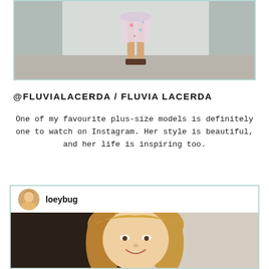[Figure (photo): Photo of a woman in a floral dress and heeled sandals standing against a white architectural background, cropped to show legs and lower body]
@FLUVIALACERDA / FLUVIA LACERDA
One of my favourite plus-size models is definitely one to watch on Instagram. Her style is beautiful, and her life is inspiring too.
[Figure (screenshot): Instagram post screenshot from user 'loeybug' showing a close-up photo of a woman with blonde wavy hair smiling]